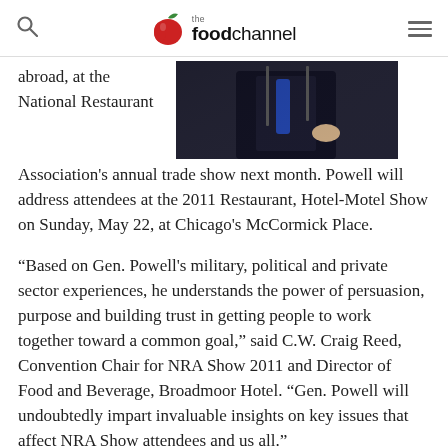the foodchannel
[Figure (photo): Close-up photograph of a person in a dark suit, partially visible from chest down, at a podium or microphone stand]
abroad, at the National Restaurant Association's annual trade show next month. Powell will address attendees at the 2011 Restaurant, Hotel-Motel Show on Sunday, May 22, at Chicago's McCormick Place.
“Based on Gen. Powell's military, political and private sector experiences, he understands the power of persuasion, purpose and building trust in getting people to work together toward a common goal,” said C.W. Craig Reed, Convention Chair for NRA Show 2011 and Director of Food and Beverage, Broadmoor Hotel. “Gen. Powell will undoubtedly impart invaluable insights on key issues that affect NRA Show attendees and us all.”
In 2001, Gen. Powell stated during his confirmation hearing to become the 65th Secretary of State that the